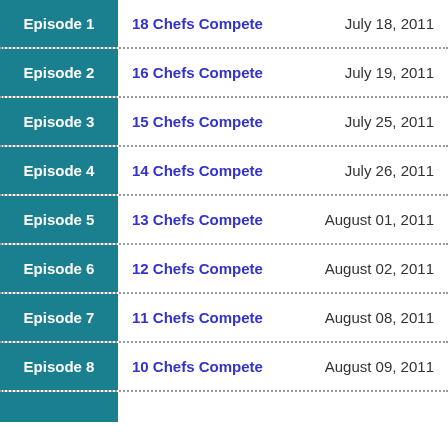Episode 1 | 18 Chefs Compete | July 18, 2011
Episode 2 | 16 Chefs Compete | July 19, 2011
Episode 3 | 15 Chefs Compete | July 25, 2011
Episode 4 | 14 Chefs Compete | July 26, 2011
Episode 5 | 13 Chefs Compete | August 01, 2011
Episode 6 | 12 Chefs Compete | August 02, 2011
Episode 7 | 11 Chefs Compete | August 08, 2011
Episode 8 | 10 Chefs Compete | August 09, 2011